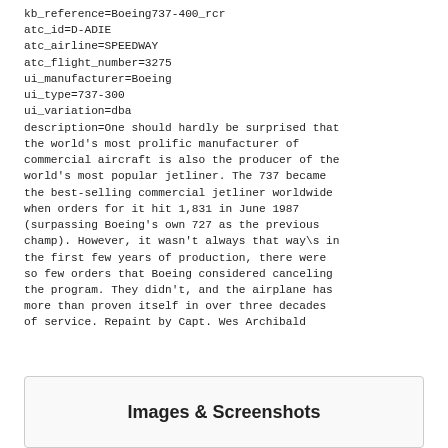kb_reference=Boeing737-400_rcr
atc_id=D-ADIE
atc_airline=SPEEDWAY
atc_flight_number=3275
ui_manufacturer=Boeing
ui_type=737-300
ui_variation=dba
description=One should hardly be surprised that the world's most prolific manufacturer of commercial aircraft is also the producer of the world's most popular jetliner. The 737 became the best-selling commercial jetliner worldwide when orders for it hit 1,831 in June 1987 (surpassing Boeing's own 727 as the previous champ). However, it wasn't always that way\s in the first few years of production, there were so few orders that Boeing considered canceling the program. They didn't, and the airplane has more than proven itself in over three decades of service. Repaint by Capt. Wes Archibald
Images & Screenshots